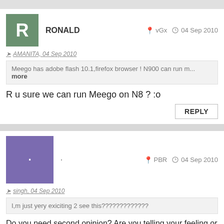RONALD  vGx  04 Sep 2010
AMANITA, 04 Sep 2010
Meego has adobe flash 10.1,firefox browser ! N900 can run m... more
R u sure we can run Meego on N8 ? :o
REPLY
. PBR  04 Sep 2010
singh, 04 Sep 2010
I,m just yery exiciting 2 see this?????????????
Do you need second opinion? Are you telling your feeling or what...?